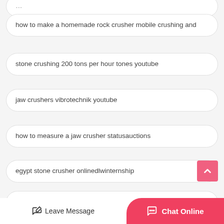how to make a homemade rock crusher mobile crushing and
stone crushing 200 tons per hour tones youtube
jaw crushers vibrotechnik youtube
how to measure a jaw crusher statusauctions
egypt stone crusher onlinedlwinternship
germany rock crushers
cence for stone crusher
Leave Message
Chat Online